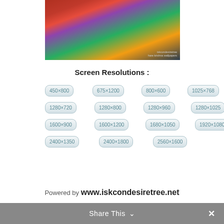[Figure (photo): Decorative religious deity statue with flowers and ornaments, ISKCON deity image with watermark text]
Screen Resolutions :
450×800
675×1200
800×600
1025×768
1152×864
1280×720
1280×800
1280×960
1280×1025
1400×10…
1600×900
1600×1200
1680×1050
1920×1080
1920×…
2400×1350
2400×1800
2560×1600
Powered by www.iskcondesiretree.net
Share This ∨  ✕